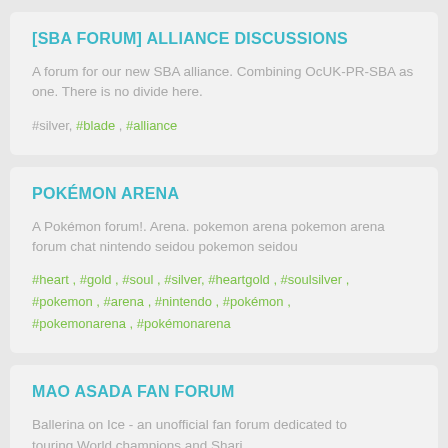[SBA FORUM] ALLIANCE DISCUSSIONS
A forum for our new SBA alliance. Combining OcUK-PR-SBA as one. There is no divide here.
#silver, #blade , #alliance
POKÉMON ARENA
A Pokémon forum!. Arena. pokemon arena pokemon arena forum chat nintendo seidou pokemon seidou
#heart , #gold , #soul , #silver, #heartgold , #soulsilver , #pokemon , #arena , #nintendo , #pokémon , #pokemonarena , #pokémonarena
MAO ASADA FAN FORUM
Ballerina on Ice - an unofficial fan forum dedicated to touring World champions and Championships and list...